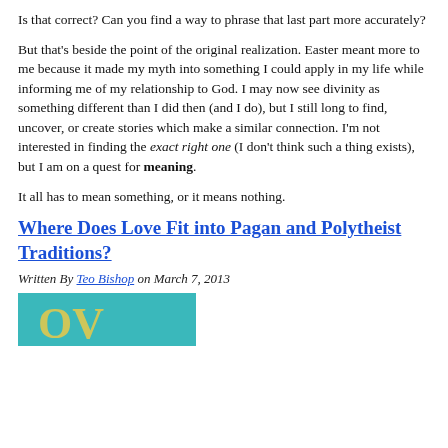Is that correct? Can you find a way to phrase that last part more accurately?
But that's beside the point of the original realization. Easter meant more to me because it made my myth into something I could apply in my life while informing me of my relationship to God. I may now see divinity as something different than I did then (and I do), but I still long to find, uncover, or create stories which make a similar connection. I'm not interested in finding the exact right one (I don't think such a thing exists), but I am on a quest for meaning.
It all has to mean something, or it means nothing.
Where Does Love Fit into Pagan and Polytheist Traditions?
Written By Teo Bishop on March 7, 2013
[Figure (photo): Partial image with teal/turquoise background, cropped at bottom of page]